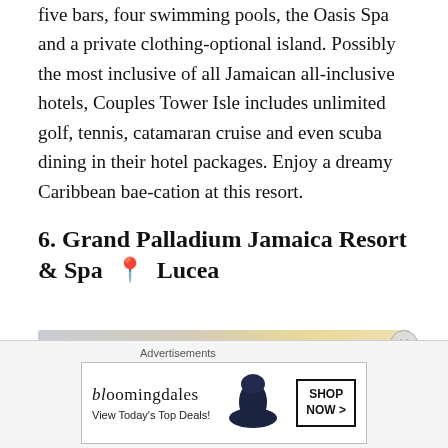five bars, four swimming pools, the Oasis Spa and a private clothing-optional island. Possibly the most inclusive of all Jamaican all-inclusive hotels, Couples Tower Isle includes unlimited golf, tennis, catamaran cruise and even scuba dining in their hotel packages. Enjoy a dreamy Caribbean bae-cation at this resort.
6. Grand Palladium Jamaica Resort & Spa 📍 Lucea
[Figure (photo): Partial photo of Grand Palladium Jamaica Resort, showing a warm sunset sky with gradient from grey-blue to golden yellow]
Advertisements
[Figure (other): Bloomingdale's advertisement banner reading 'View Today's Top Deals!' with a woman in a wide-brim hat and a 'SHOP NOW >' button]